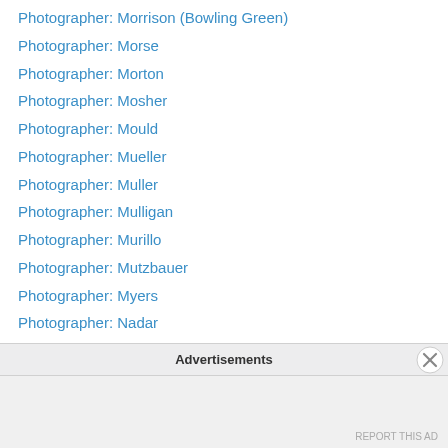Photographer: Morrison (Bowling Green)
Photographer: Morse
Photographer: Morton
Photographer: Mosher
Photographer: Mould
Photographer: Mueller
Photographer: Muller
Photographer: Mulligan
Photographer: Murillo
Photographer: Mutzbauer
Photographer: Myers
Photographer: Nadar
Photographer: Naegeli
Photographer: Nast
Photographer: Neal
Photographer: Newell
Advertisements
REPORT THIS AD